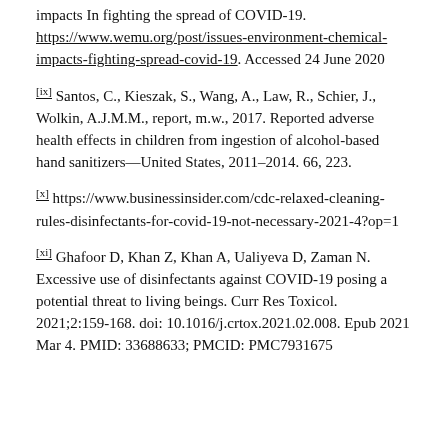impacts In fighting the spread of COVID-19. https://www.wemu.org/post/issues-environment-chemical-impacts-fighting-spread-covid-19. Accessed 24 June 2020
[ix] Santos, C., Kieszak, S., Wang, A., Law, R., Schier, J., Wolkin, A.J.M.M., report, m.w., 2017. Reported adverse health effects in children from ingestion of alcohol-based hand sanitizers—United States, 2011–2014. 66, 223.
[x] https://www.businessinsider.com/cdc-relaxed-cleaning-rules-disinfectants-for-covid-19-not-necessary-2021-4?op=1
[xi] Ghafoor D, Khan Z, Khan A, Ualiyeva D, Zaman N. Excessive use of disinfectants against COVID-19 posing a potential threat to living beings. Curr Res Toxicol. 2021;2:159-168. doi: 10.1016/j.crtox.2021.02.008. Epub 2021 Mar 4. PMID: 33688633; PMCID: PMC7931675